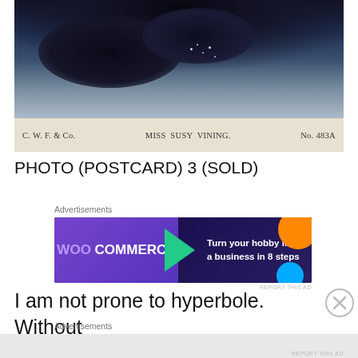[Figure (photo): Old sepia/blue-toned postcard photograph showing a dark figure (Miss Susy Vining) against a blue-grey background. Caption bar reads: C. W. F. & Co.   MISS SUSY VINING.   No. 483A]
C. W. F. & Co.     MISS SUSY VINING.     No. 483A
PHOTO (POSTCARD) 3 (SOLD)
[Figure (screenshot): WooCommerce advertisement banner: 'Turn your hobby into a business in 8 steps']
I am not prone to hyperbole. Without